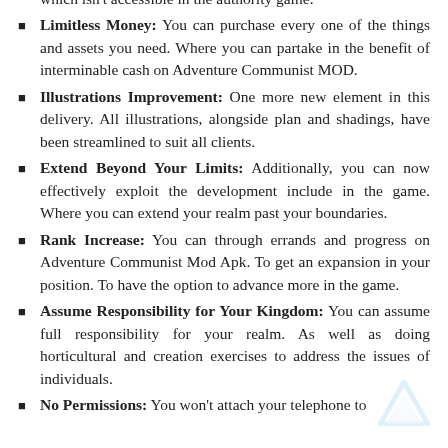which isn't accessible in the authority game.
Limitless Money: You can purchase every one of the things and assets you need. Where you can partake in the benefit of interminable cash on Adventure Communist MOD.
Illustrations Improvement: One more new element in this delivery. All illustrations, alongside plan and shadings, have been streamlined to suit all clients.
Extend Beyond Your Limits: Additionally, you can now effectively exploit the development include in the game. Where you can extend your realm past your boundaries.
Rank Increase: You can through errands and progress on Adventure Communist Mod Apk. To get an expansion in your position. To have the option to advance more in the game.
Assume Responsibility for Your Kingdom: You can assume full responsibility for your realm. As well as doing horticultural and creation exercises to address the issues of individuals.
No Permissions: You won't attach your telephone to